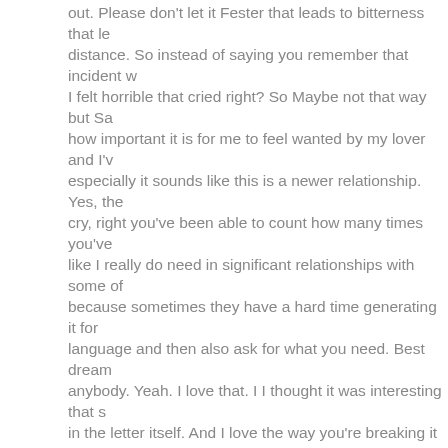out. Please don't let it Fester that leads to bitterness that le distance. So instead of saying you remember that incident w I felt horrible that cried right? So Maybe not that way but Sa how important it is for me to feel wanted by my lover and I'v especially it sounds like this is a newer relationship. Yes, the cry, right you've been able to count how many times you've like I really do need in significant relationships with some of because sometimes they have a hard time generating it for language and then also ask for what you need. Best dream anybody. Yeah. I love that. I I thought it was interesting that s in the letter itself. And I love the way you're breaking it down want you to show me that you want me here's how you can then I would also maybe and I don't I don't know if you'd ag a challenge for you to also work on, you know feeling great at that kind of internal validation as well while you're asking that external validation. So and and the erection piece really think that in our culture we look at erection as a sign of arou in fact, you know, you can get a boner from riding the bus h surrounded by eight of your, you know, ideal lovers catering get a boner. And so we do I think all needs to remind ourse